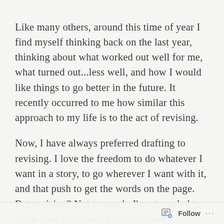Like many others, around this time of year I find myself thinking back on the last year, thinking about what worked out well for me, what turned out...less well, and how I would like things to go better in the future. It recently occurred to me how similar this approach to my life is to the act of revising.
Now, I have always preferred drafting to revising. I love the freedom to do whatever I want in a story, to go wherever I want with it, and that push to get the words on the page. But revision? Not so much. I've struggled to know how to approach revision and what to even do with my words once they are on the
Follow ···